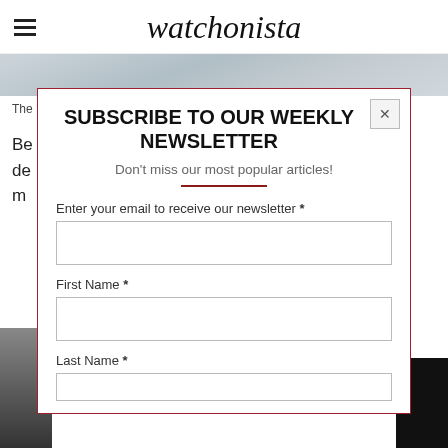watchonista
[Figure (photo): Partial hero image of a Rolex watch, grey/silver tones]
The New Rolex Oyster Perpetual Explorer II, 42 mm, Oystersteel © Rolex
Be... first... 70... ... its de... ... a m...
[Figure (screenshot): Newsletter subscription modal dialog with email, first name, and last name fields. Title: SUBSCRIBE TO OUR WEEKLY NEWSLETTER. Subtitle: Don't miss our most popular articles!]